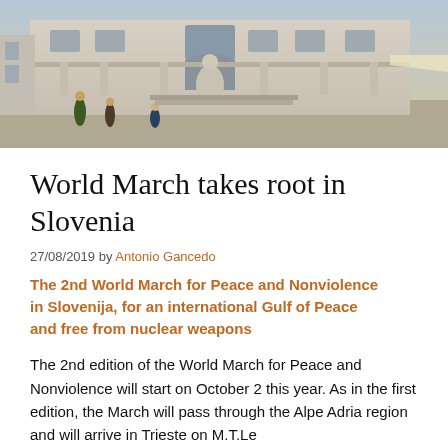[Figure (photo): Outdoor plaza scene with a neoclassical building facade, ornamental sculptures, and people in the foreground; warm afternoon light.]
World March takes root in Slovenia
27/08/2019 by Antonio Gancedo
The 2nd World March for Peace and Nonviolence in Slovenija, for an international Gulf of Peace and free from nuclear weapons
The 2nd edition of the World March for Peace and Nonviolence will start on October 2 this year. As in the first edition, the March will pass through the Alpe Adria region and will arrive in Trieste on M.T.Le…